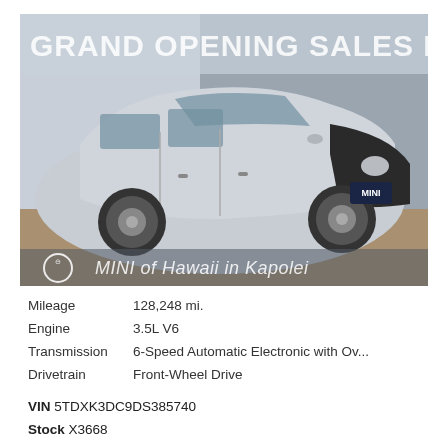[Figure (photo): Silver Toyota Sienna minivan parked in front of a dealership building with 'GRAND OPENING SALES EVENT' text visible and MINI of Hawaii in Kapolei branding at the bottom.]
| Mileage | 128,248 mi. |
| Engine | 3.5L V6 |
| Transmission | 6-Speed Automatic Electronic with Ov... |
| Drivetrain | Front-Wheel Drive |
VIN 5TDXK3DC9DS385740
Stock X3668